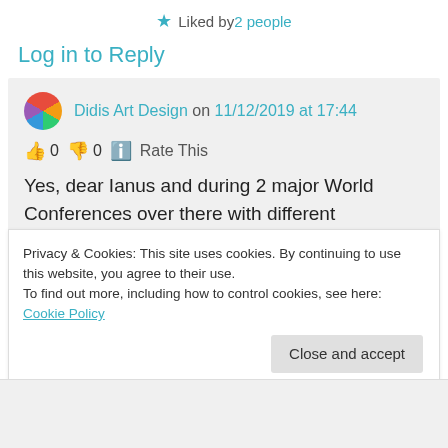★ Liked by 2 people
Log in to Reply
Didis Art Design on 11/12/2019 at 17:44
👍 0 👎 0 ℹ Rate This
Yes, dear Ianus and during 2 major World Conferences over there with different representatives from various religions it has proved and shown that they can live
Privacy & Cookies: This site uses cookies. By continuing to use this website, you agree to their use.
To find out more, including how to control cookies, see here: Cookie Policy
Close and accept